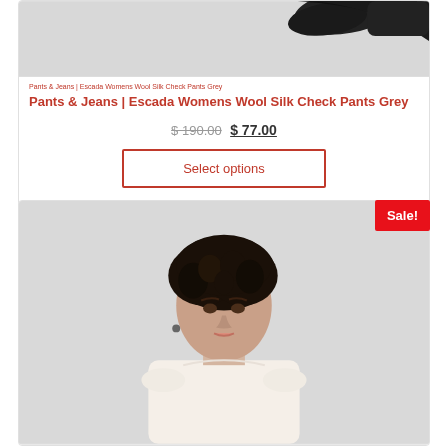[Figure (photo): Cropped product image showing dark shoes/pants on grey background, top portion only visible]
Pants & Jeans | Escada Womens Wool Silk Check Pants Grey
$ 190.00  $ 77.00
Select options
[Figure (photo): Fashion product photo of a woman with short dark curly hair wearing a white/cream top, on light grey background]
Sale!